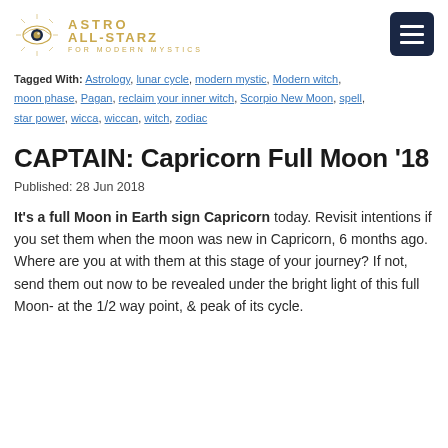ASTRO ALL-STARZ FOR MODERN MYSTICS
Tagged With: Astrology, lunar cycle, modern mystic, Modern witch, moon phase, Pagan, reclaim your inner witch, Scorpio New Moon, spell, star power, wicca, wiccan, witch, zodiac
CAPTAIN: Capricorn Full Moon '18
Published: 28 Jun 2018
It's a full Moon in Earth sign Capricorn today. Revisit intentions if you set them when the moon was new in Capricorn, 6 months ago. Where are you at with them at this stage of your journey? If not, send them out now to be revealed under the bright light of this full Moon- at the 1/2 way point, & peak of its cycle.